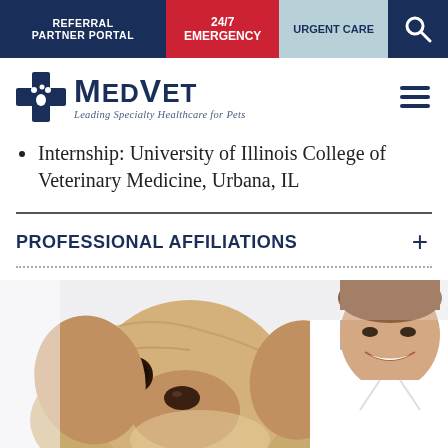REFERRAL PARTNER PORTAL | 24/7 EMERGENCY | URGENT CARE
[Figure (logo): MedVet logo with blue cross icon and tagline 'Leading Specialty Healthcare for Pets']
Internship: University of Illinois College of Veterinary Medicine, Urbana, IL
PROFESSIONAL AFFILIATIONS
[Figure (photo): Photo of a smiling male veterinarian in white coat holding a golden retriever puppy]